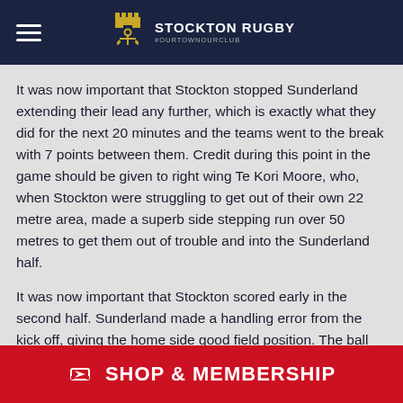[Figure (logo): Stockton Rugby club logo with anchor and castle emblem in gold, with text STOCKTON RUGBY and #OURTOWNOURCLUB on dark navy background header]
It was now important that Stockton stopped Sunderland extending their lead any further, which is exactly what they did for the next 20 minutes and the teams went to the break with 7 points between them. Credit during this point in the game should be given to right wing Te Kori Moore, who, when Stockton were struggling to get out of their own 22 metre area, made a superb side stepping run over 50 metres to get them out of trouble and into the Sunderland half.
It was now important that Stockton scored early in the second half. Sunderland made a handling error from the kick off, giving the home side good field position. The ball was quickly worked left and Steve Bartliff squeezed over the try line just 2 minutes into the half. Stockton 10
SHOP & MEMBERSHIP